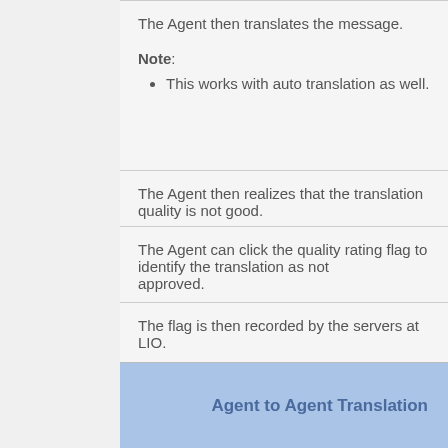The Agent then translates the message.
Note:
This works with auto translation as well.
The Agent then realizes that the translation quality is not good.
The Agent can click the quality rating flag to identify the translation as not approved.
The flag is then recorded by the servers at LIO.
Agent to Agent Translation
Agent 2 Agent is a feature that allows all who are able to view a page to translate source items (description, subject, feed text, post comme